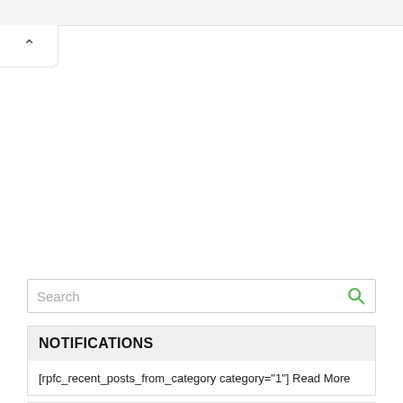[Figure (screenshot): Top navigation bar with gray background and collapse/chevron button below it on the left side]
Search
NOTIFICATIONS
[rpfc_recent_posts_from_category category="1"] Read More